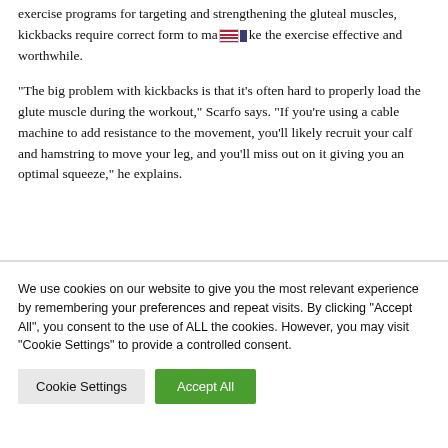exercise programs for targeting and strengthening the gluteal muscles, kickbacks require correct form to make the exercise effective and worthwhile.
“The big problem with kickbacks is that it’s often hard to properly load the glute muscle during the workout,” Scarfo says. “If you’re using a cable machine to add resistance to the movement, you’ll likely recruit your calf and hamstring to move your leg, and you’ll miss out on it giving you an optimal squeeze,” he explains.
We use cookies on our website to give you the most relevant experience by remembering your preferences and repeat visits. By clicking “Accept All”, you consent to the use of ALL the cookies. However, you may visit "Cookie Settings" to provide a controlled consent.
Cookie Settings | Accept All